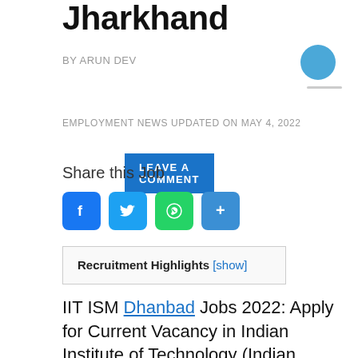Jharkhand
BY ARUN DEV
LEAVE A COMMENT
EMPLOYMENT NEWS UPDATED ON MAY 4, 2022
Share this Job
[Figure (infographic): Social share icons: Facebook (blue), Twitter (blue), WhatsApp (green), Share (blue)]
Recruitment Highlights [show]
IIT ISM Dhanbad Jobs 2022: Apply for Current Vacancy in Indian Institute of Technology (Indian School of Mines) Recruitment